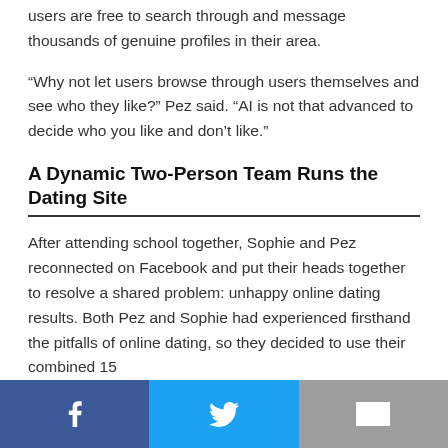users are free to search through and message thousands of genuine profiles in their area.
“Why not let users browse through users themselves and see who they like?” Pez said. “AI is not that advanced to decide who you like and don’t like.”
A Dynamic Two-Person Team Runs the Dating Site
After attending school together, Sophie and Pez reconnected on Facebook and put their heads together to resolve a shared problem: unhappy online dating results. Both Pez and Sophie had experienced firsthand the pitfalls of online dating, so they decided to use their combined 15
[Figure (infographic): Social sharing bar with three buttons: Facebook (blue, f icon), Twitter (light blue, bird icon), Email (grey, envelope icon)]